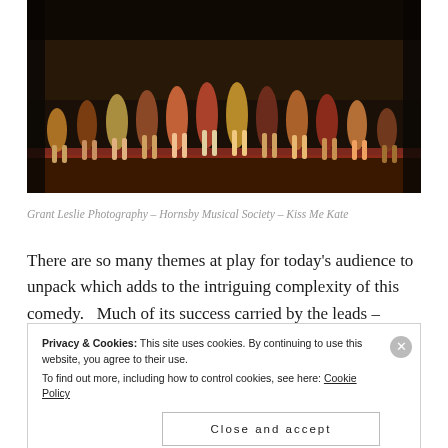[Figure (photo): Stage performance photo showing dancers jumping in the air on a theatre stage, colorful costumes, from Hornsby Musical Society production of Kiss Me Kate]
Grant Leslie Photography – Hornsby Musical Society – Kiss Me Kate
There are so many themes at play for today's audience to unpack which adds to the intriguing complexity of this comedy.  Much of its success carried by the leads – Freshwater local, James Cullen (Fred Graham) and Epping resident, Amy Neville (Lilli Vanessi) who portray a passionate
Privacy & Cookies: This site uses cookies. By continuing to use this website, you agree to their use. To find out more, including how to control cookies, see here: Cookie Policy
Close and accept